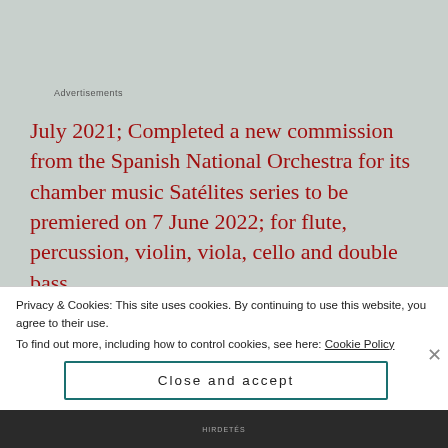Advertisements
July 2021; Completed a new commission from the Spanish National Orchestra for its chamber music Satélites series to be premiered on 7 June 2022; for flute, percussion, violin, viola, cello and double bass.
February 2021; Have completed a chamber opera, with a Spanish libretto I've written, based on a short
Privacy & Cookies: This site uses cookies. By continuing to use this website, you agree to their use.
To find out more, including how to control cookies, see here: Cookie Policy
Close and accept